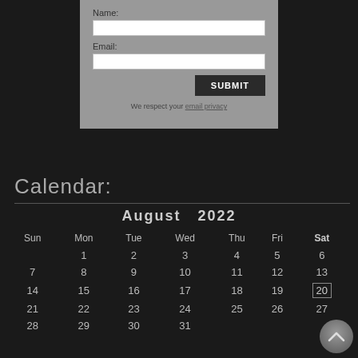[Figure (screenshot): Web form with Name and Email fields, a Submit button, and a privacy notice on a grey panel background]
Calendar:
| Sun | Mon | Tue | Wed | Thu | Fri | Sat |
| --- | --- | --- | --- | --- | --- | --- |
|  | 1 | 2 | 3 | 4 | 5 | 6 |
| 7 | 8 | 9 | 10 | 11 | 12 | 13 |
| 14 | 15 | 16 | 17 | 18 | 19 | 20 |
| 21 | 22 | 23 | 24 | 25 | 26 | 27 |
| 28 | 29 | 30 | 31 |  |  |  |